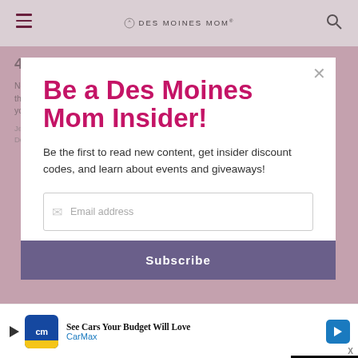DES MOINES MOM
Be a Des Moines Mom Insider!
Be the first to read new content, get insider discount codes, and learn about events and giveaways!
Email address
Subscribe
[Figure (screenshot): Video ad player showing 'Loading ad' text with spinner and playback controls (pause, expand, mute)]
See Cars Your Budget Will Love
CarMax